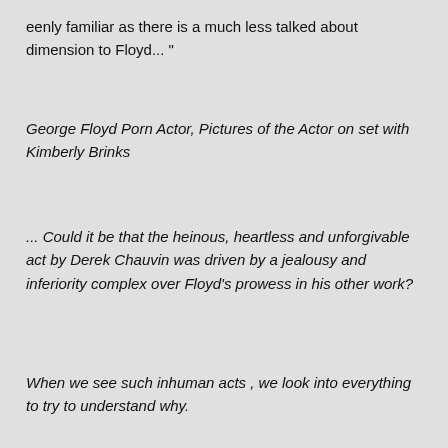eenly familiar as there is a much less talked about dimension to Floyd... "
George Floyd Porn Actor, Pictures of the Actor on set with Kimberly Brinks
... Could it be that the heinous, heartless and unforgivable act by Derek Chauvin was driven by a jealousy and inferiority complex over Floyd's prowess in his other work?
When we see such inhuman acts , we look into everything to try to understand why.